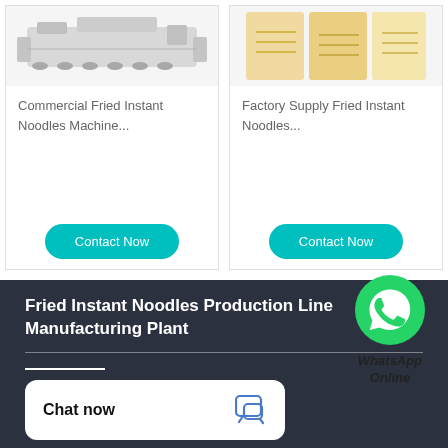[Figure (photo): Product card showing a commercial fried instant noodles machine (industrial equipment)]
Commercial Fried Instant Noodles Machine...
Contact Now
[Figure (photo): Product card showing factory supply fried instant noodles (food product images)]
Factory Supply Fried Instant Noodles...
Contact Now
[Figure (logo): WhatsApp green phone icon with WhatsApp Online text below]
Fried Instant Noodles Production Line Manufacturing Plant
Chat now